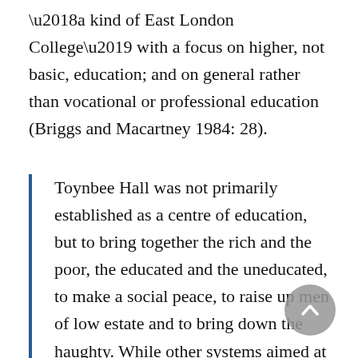‘a kind of East London College’ with a focus on higher, not basic, education; and on general rather than vocational or professional education (Briggs and Macartney 1984: 28).
Toynbee Hall was not primarily established as a centre of education, but to bring together the rich and the poor, the educated and the uneducated, to make a social peace, to raise up men of low estate and to bring down the haughty. While other systems aimed at enabling people to possess more of the good things of life, our system aimed at enabling